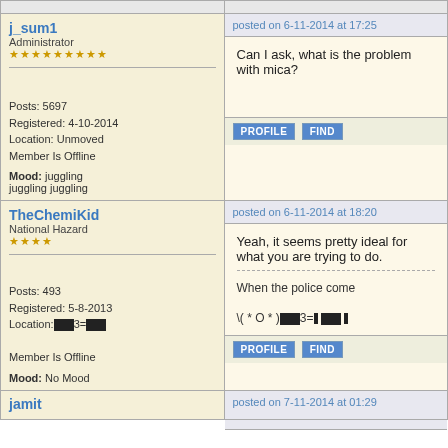j_sum1 | Administrator | posted on 6-11-2014 at 17:25 | Posts: 5697 | Registered: 4-10-2014 | Location: Unmoved | Member Is Offline | Mood: juggling juggling juggling | Can I ask, what is the problem with mica?
TheChemiKid | National Hazard | posted on 6-11-2014 at 18:20 | Posts: 493 | Registered: 5-8-2013 | Member Is Offline | Mood: No Mood | Yeah, it seems pretty ideal for what you are trying to do. | When the police come
jamit | posted on 7-11-2014 at 01:29